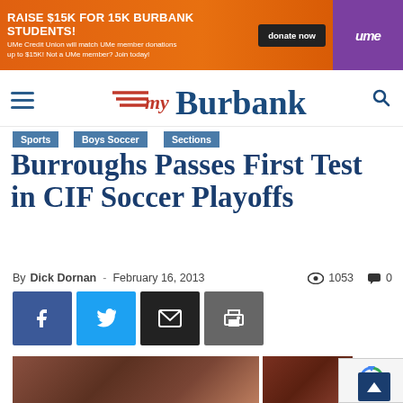[Figure (infographic): UMe Credit Union advertisement banner: orange background with 'RAISE $15K FOR 15K BURBANK STUDENTS!' headline, donate now button, and UMe logo with purple bird]
myBurbank
Sports
Boys Soccer
Sections
Burroughs Passes First Test in CIF Soccer Playoffs
By Dick Dornan - February 16, 2013  1053  0
[Figure (photo): Soccer players celebrating on field in front of net, red and white uniforms, two photos side by side]